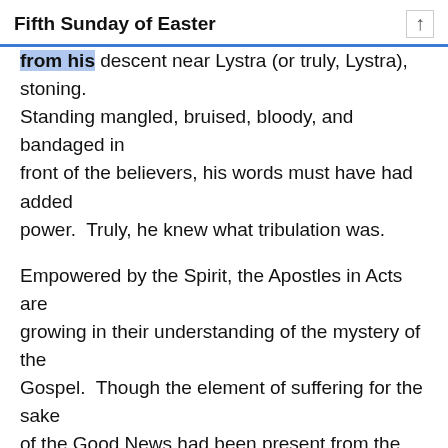Fifth Sunday of Easter
from his descent near Lystra (or truly, Lystra), stoning. Standing mangled, bruised, bloody, and bandaged in front of the believers, his words must have had added power.  Truly, he knew what tribulation was.
Empowered by the Spirit, the Apostles in Acts are growing in their understanding of the mystery of the Gospel.  Though the element of suffering for the sake of the Good News had been present from the beginning of Jesus' own preaching, Paul is realizing just how true this is.  So many years before, Jesus Himself and pronounced on an mountaintop:
“Blessed are those who are persecuted for